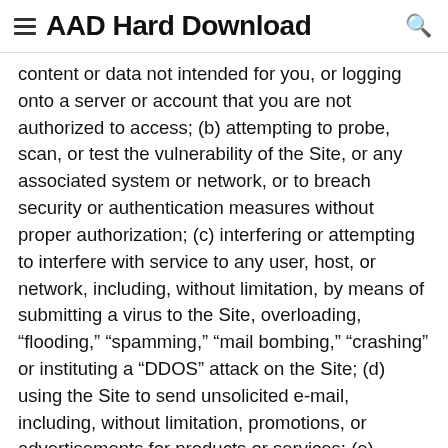AAD Hard Download
content or data not intended for you, or logging onto a server or account that you are not authorized to access; (b) attempting to probe, scan, or test the vulnerability of the Site, or any associated system or network, or to breach security or authentication measures without proper authorization; (c) interfering or attempting to interfere with service to any user, host, or network, including, without limitation, by means of submitting a virus to the Site, overloading, “flooding,” “spamming,” “mail bombing,” “crashing” or instituting a “DDOS” attack on the Site; (d) using the Site to send unsolicited e-mail, including, without limitation, promotions, or advertisements for products or services; (e) forging any TCP/IP packet header or any part of the header information in any e-mail or in any posting using the Site; or (f) attempting to modify, reverse-engineer, decompile, disassemble, or otherwise reduce or attempt to reduce to a human-perceivable form any of the source code used by us in providing the Site. Any violation of system or network security may subject you to civil and/or criminal liability.